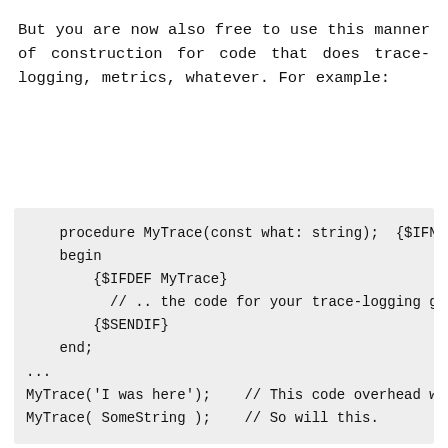But you are now also free to use this manner of construction for code that does trace-logging, metrics, whatever. For example:
procedure MyTrace(const what: string);  {$IFND
begin
    {$IFDEF MyTrace}
      // .. the code for your trace-logging goe
    {$SENDIF}
    end;
...
MyTrace('I was here');    // This code overhead wi
MyTrace( SomeString );    // So will this.